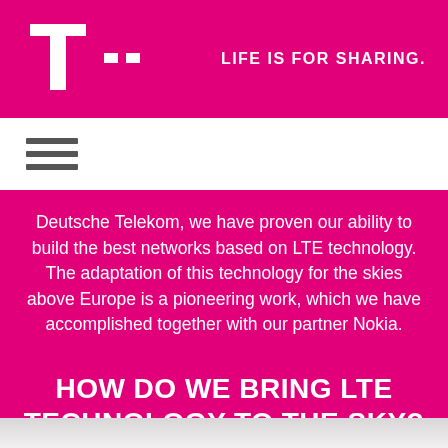T — LIFE IS FOR SHARING.
[Figure (logo): Deutsche Telekom T-logo in white on magenta background, with two small square dots to the right]
LIFE IS FOR SHARING.
[Figure (other): Hamburger menu icon (three horizontal lines) on white navigation bar]
Deutsche Telekom, we have proven our ability to build the best networks based on LTE technology. The adaptation of this technology for the skies above Europe is a pioneering work, which we have accomplished together with our partner Nokia.
HOW DO WE BRING LTE TECHNOLOGY TO THE SKY?
[Figure (photo): Partial view of a snowy/cloudy landscape at the bottom of the page]